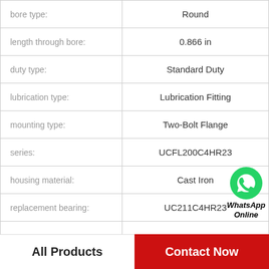| Property | Value |
| --- | --- |
| bore type: | Round |
| length through bore: | 0.866 in |
| duty type: | Standard Duty |
| lubrication type: | Lubrication Fitting |
| mounting type: | Two-Bolt Flange |
| series: | UCFL200C4HR23 |
| housing material: | Cast Iron |
| replacement bearing: | UC211C4HR23 |
[Figure (logo): WhatsApp green phone icon with WhatsApp Online text]
All Products    Contact Now